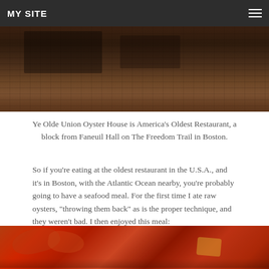MY SITE
[Figure (photo): Interior of Ye Olde Union Oyster House restaurant showing brick walls and wooden bar]
Ye Olde Union Oyster House is America's Oldest Restaurant, a block from Faneuil Hall on The Freedom Trail in Boston.
So if you're eating at the oldest restaurant in the U.S.A., and it's in Boston, with the Atlantic Ocean nearby, you're probably going to have a seafood meal. For the first time I ate raw oysters, "throwing them back" as is the proper technique, and they weren't bad. I then enjoyed this meal:
[Figure (photo): A whole cooked red lobster on a plate with lemon wedges and corn, served at Ye Olde Union Oyster House]